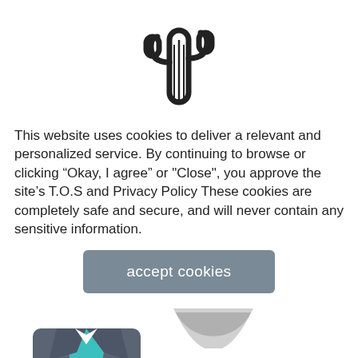[Figure (illustration): Black outline cactus icon centered at top of page]
This website uses cookies to deliver a relevant and personalized service. By continuing to browse or clicking “Okay, I agree” or "Close", you approve the site’s T.O.S and Privacy Policy These cookies are completely safe and secure, and will never contain any sensitive information.
[Figure (illustration): Gray rounded rectangle button labeled 'accept cookies' in white text]
[Figure (illustration): Illustration of a person in a suit jacket with teal shirt and a badge reading '980 EXPERIENCES', shown from chest up, centered in bottom-left area]
[Figure (illustration): Gray arc/smile shape in upper right of bottom section, resembling a satisfaction meter or smiley face bottom]
satisfaction rating which isnt the best and worth consideration if you feel you might need support.